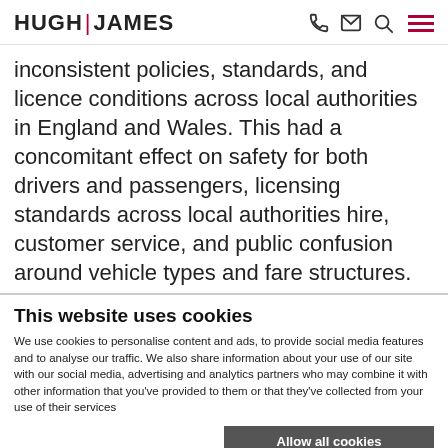HUGH | JAMES
inconsistent policies, standards, and licence conditions across local authorities in England and Wales. This had a concomitant effect on safety for both drivers and passengers, licensing standards across local authorities hire, customer service, and public confusion around vehicle types and fare structures.
This website uses cookies
We use cookies to personalise content and ads, to provide social media features and to analyse our traffic. We also share information about your use of our site with our social media, advertising and analytics partners who may combine it with other information that you've provided to them or that they've collected from your use of their services
Allow all cookies
Allow selection
Use necessary cookies only
Necessary  Preferences  Statistics  Marketing  Show details